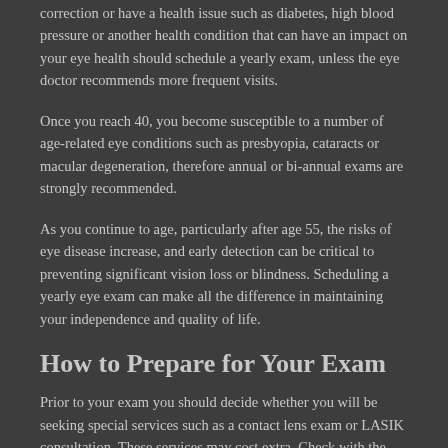correction or have a health issue such as diabetes, high blood pressure or another health condition that can have an impact on your eye health should schedule a yearly exam, unless the eye doctor recommends more frequent visits.
Once you reach 40, you become susceptible to a number of age-related eye conditions such as presbyopia, cataracts or macular degeneration, therefore annual or bi-annual exams are strongly recommended.
As you continue to age, particularly after age 55, the risks of eye disease increase, and early detection can be critical to preventing significant vision loss or blindness. Scheduling a yearly eye exam can make all the difference in maintaining your independence and quality of life.
How to Prepare for Your Exam
Prior to your exam you should decide whether you will be seeking special services such as a contact lens exam or LASIK consultation. These services may cost extra. Check with the doctor's office or your insurance provider to see if they cover